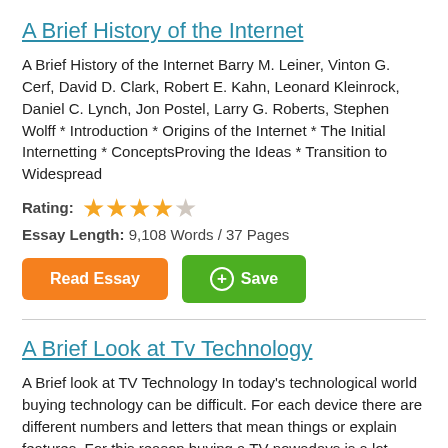A Brief History of the Internet
A Brief History of the Internet Barry M. Leiner, Vinton G. Cerf, David D. Clark, Robert E. Kahn, Leonard Kleinrock, Daniel C. Lynch, Jon Postel, Larry G. Roberts, Stephen Wolff * Introduction * Origins of the Internet * The Initial Internetting * ConceptsProving the Ideas * Transition to Widespread
Rating: 4 out of 5 stars
Essay Length: 9,108 Words / 37 Pages
Read Essay | Save
A Brief Look at Tv Technology
A Brief look at TV Technology In today's technological world buying technology can be difficult. For each device there are different numbers and letters that mean things or explain features. For this reason buying a TV nowadays is a lot different than it used to be. In the past, your
Rating: (partially shown, approximately 4 stars)